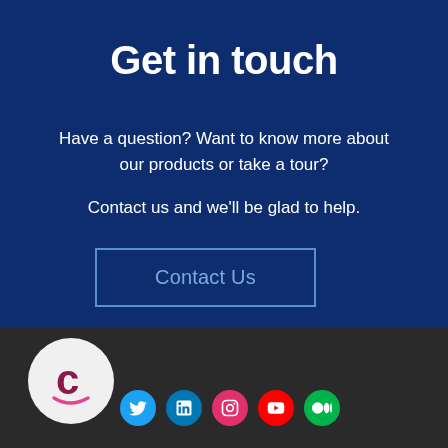Get in touch
Have a question? Want to know more about our products or take a tour?

Contact us and we'll be glad to help.
Contact Us
[Figure (logo): Company logo circle with stylized C letter and smile curve, white background]
[Figure (infographic): Row of social media icons: Twitter (blue), LinkedIn (blue), Instagram (pink), YouTube (red), Medium (green)]